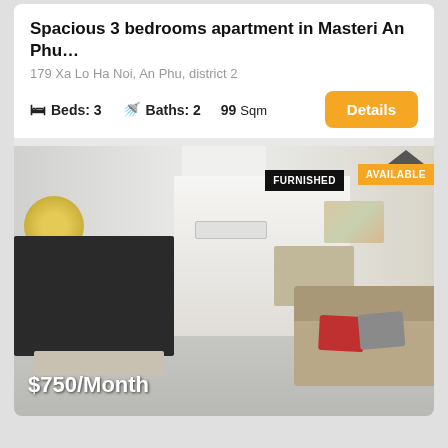Spacious 3 bedrooms apartment in Masteri An Phu…
179 Xa Lo Ha Noi, An Phu, district 2
Beds: 3   Baths: 2   99 Sqm
[Figure (photo): Interior photo of a furnished apartment living room with TV, sofa with red/grey pillows, dining area, kitchen in background, and a decorative wall piece. Price overlay: $750/Month. Badges: FURNISHED, AVAILABLE.]
$750/Month